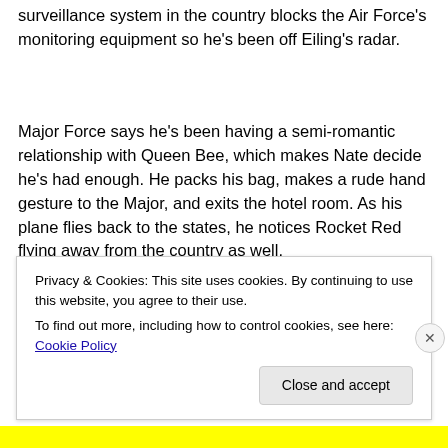surveillance system in the country blocks the Air Force's monitoring equipment so he's been off Eiling's radar.
Major Force says he's been having a semi-romantic relationship with Queen Bee, which makes Nate decide he's had enough. He packs his bag, makes a rude hand gesture to the Major, and exits the hotel room. As his plane flies back to the states, he notices Rocket Red flying away from the country as well.
Privacy & Cookies: This site uses cookies. By continuing to use this website, you agree to their use.
To find out more, including how to control cookies, see here: Cookie Policy

Close and accept